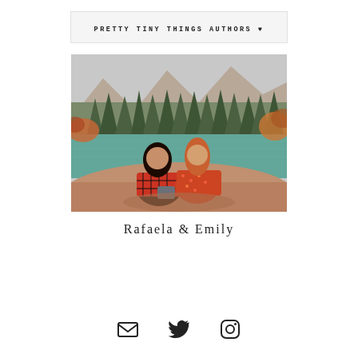PRETTY TINY THINGS AUTHORS ♥
[Figure (photo): Two young women sitting side by side on a rock facing a turquoise alpine lake, surrounded by evergreen trees and autumn foliage. One has dark hair, one has red/auburn hair. Both wearing plaid/floral outfits.]
Rafaela & Emily
[Figure (infographic): Three social media icons in a row: envelope (email), Twitter bird, Instagram camera]